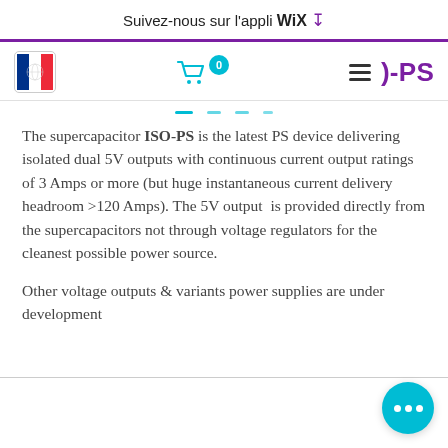Suivez-nous sur l'appli WIX ↓
[Figure (logo): French flag icon in a rounded box]
[Figure (illustration): Shopping cart icon with badge showing 0, hamburger menu icon, and brand name -PS in purple]
The supercapacitor ISO-PS is the latest PS device delivering isolated dual 5V outputs with continuous current output ratings of 3 Amps or more (but huge instantaneous current delivery headroom >120 Amps). The 5V output  is provided directly from the supercapacitors not through voltage regulators for the cleanest possible power source.
Other voltage outputs & variants power supplies are under development